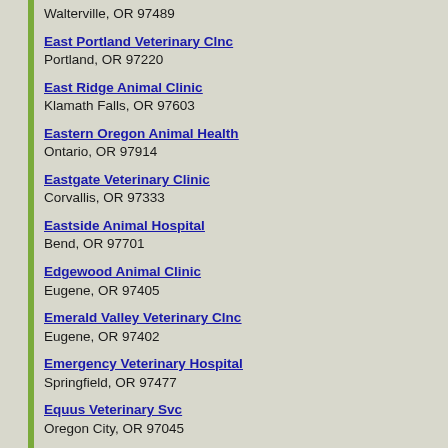Walterville, OR 97489
East Portland Veterinary Clnc
Portland, OR 97220
East Ridge Animal Clinic
Klamath Falls, OR 97603
Eastern Oregon Animal Health
Ontario, OR 97914
Eastgate Veterinary Clinic
Corvallis, OR 97333
Eastside Animal Hospital
Bend, OR 97701
Edgewood Animal Clinic
Eugene, OR 97405
Emerald Valley Veterinary Clnc
Eugene, OR 97402
Emergency Veterinary Hospital
Springfield, OR 97477
Equus Veterinary Svc
Oregon City, OR 97045
Eric Sharpnack Dvm
Bend, OR 97701